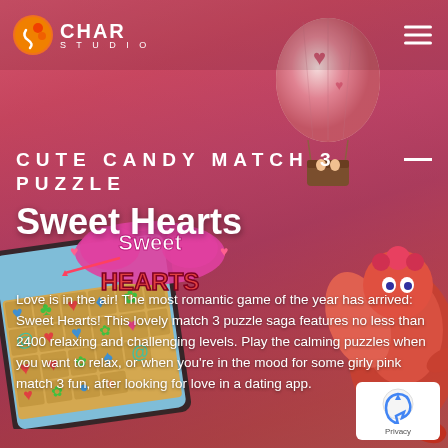CHAR STUDIO
CUTE CANDY MATCH 3 PUZZLE
Sweet Hearts
[Figure (screenshot): Sweet Hearts match-3 puzzle game promotional screenshot showing colorful game board with hearts and candy pieces, hot air balloon in sky, cartoon dragon creature, and Sweet Hearts logo overlay on pink/red gradient background]
Love is in the air! The most romantic game of the year has arrived: Sweet Hearts! This lovely match 3 puzzle saga features no less than 2400 relaxing and challenging levels. Play the calming puzzles when you want to relax, or when you're in the mood for some girly pink match 3 fun, after looking for love in a dating app.
[Figure (logo): reCAPTCHA / Privacy badge in bottom right corner]